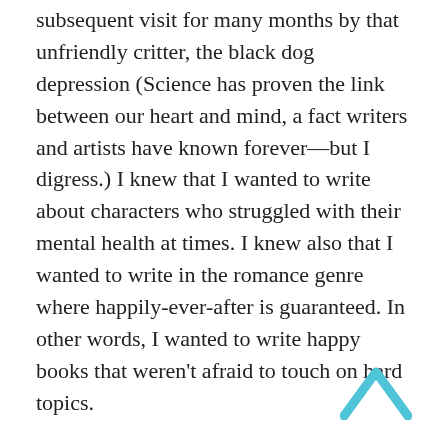...visiting friends house highly and a subsequent visit for many months by that unfriendly critter, the black dog depression (Science has proven the link between our heart and mind, a fact writers and artists have known forever—but I digress.) I knew that I wanted to write about characters who struggled with their mental health at times. I knew also that I wanted to write in the romance genre where happily-ever-after is guaranteed. In other words, I wanted to write happy books that weren't afraid to touch on hard topics.
My characters deal with anxiety and panic attacks, depression, PTSD, and OCD and in my latest manuscript I am writing about self-harm. These are not light topics. But my aim is to write with a light touch, to take the...